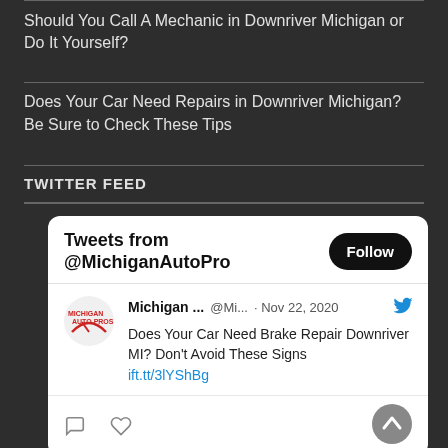Should You Call A Mechanic in Downriver Michigan or Do It Yourself?
Does Your Car Need Repairs in Downriver Michigan? Be Sure to Check These Tips
TWITTER FEED
[Figure (screenshot): Twitter widget showing tweets from @MichiganAutoPro with a Follow button. Tweet from Michigan... @Mi... · Nov 22, 2020: Does Your Car Need Brake Repair Downriver MI? Don't Avoid These Signs ift.tt/3lYShBg]